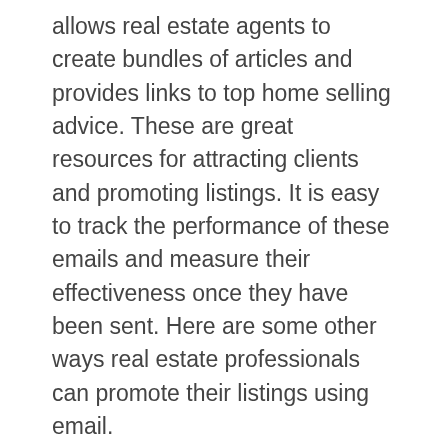allows real estate agents to create bundles of articles and provides links to top home selling advice. These are great resources for attracting clients and promoting listings. It is easy to track the performance of these emails and measure their effectiveness once they have been sent. Here are some other ways real estate professionals can promote their listings using email.
An email real estate newsletter is another great way to promote listings. This strategy is highly effective, especially if it